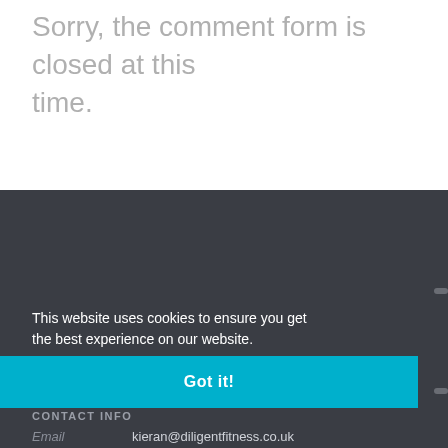Sorry, the comment form is closed at this time.
CONTACT INFO
Address    Unit 1 1912 Mill,
This website uses cookies to ensure you get the best experience on our website.
Learn more
Got it!
Email    kieran@diligentfitness.co.uk